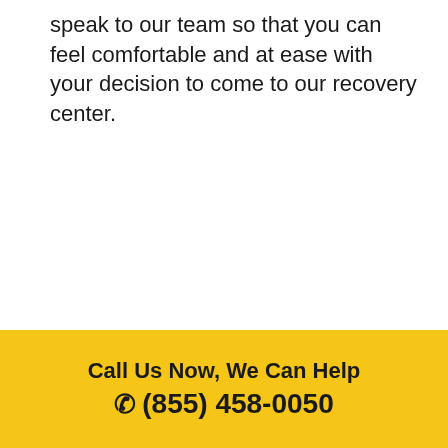speak to our team so that you can feel comfortable and at ease with your decision to come to our recovery center.
Call Us Now, We Can Help (855) 458-0050